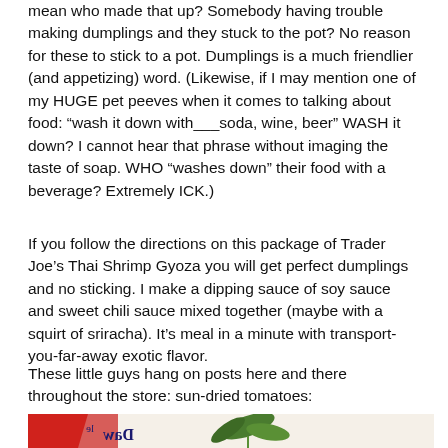mean who made that up? Somebody having trouble making dumplings and they stuck to the pot? No reason for these to stick to a pot. Dumplings is a much friendlier (and appetizing) word. (Likewise, if I may mention one of my HUGE pet peeves when it comes to talking about food: “wash it down with___soda, wine, beer” WASH it down? I cannot hear that phrase without imaging the taste of soap. WHO “washes down” their food with a beverage? Extremely ICK.)
If you follow the directions on this package of Trader Joe’s Thai Shrimp Gyoza you will get perfect dumplings and no sticking. I make a dipping sauce of soy sauce and sweet chili sauce mixed together (maybe with a squirt of sriracha). It’s meal in a minute with transport-you-far-away exotic flavor.
These little guys hang on posts here and there throughout the store: sun-dried tomatoes:
[Figure (photo): Partial view of a product package showing illustrated leaves/plant motif and stylized text reading 'Daw' (partially visible), with red and white background elements.]